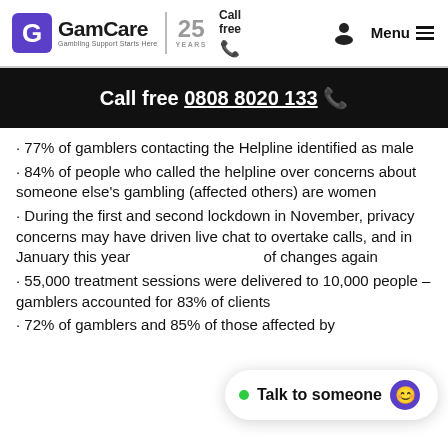GamCare | Gambling Support Starts Here | 25 YEARS | Call free | Menu
Call free 0808 8020 133 ☎
· 77% of gamblers contacting the Helpline identified as male
· 84% of people who called the helpline over concerns about someone else's gambling (affected others) are women
· During the first and second lockdown in November, privacy concerns may have driven live chat to overtake calls, and in January this year of changes again
· 55,000 treatment sessions were delivered to 10,000 people – gamblers accounted for 83% of clients
· 72% of gamblers and 85% of those affected by